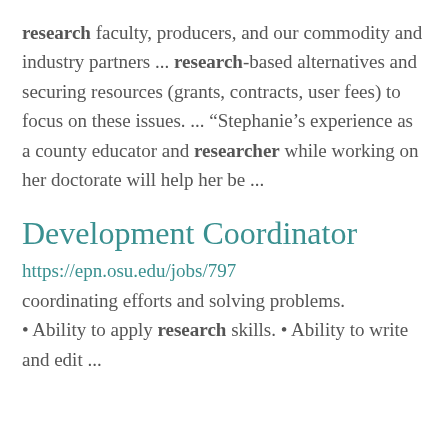research faculty, producers, and our commodity and industry partners ... research-based alternatives and securing resources (grants, contracts, user fees) to focus on these issues. ... “Stephanie’s experience as a county educator and researcher while working on her doctorate will help her be ...
Development Coordinator
https://epn.osu.edu/jobs/797
coordinating efforts and solving problems. • Ability to apply research skills. • Ability to write and edit ...